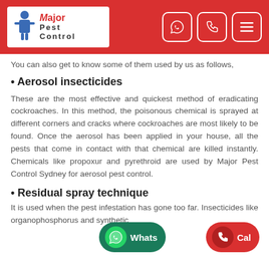[Figure (logo): Major Pest Control logo with cartoon pest controller figure, red and grey text on white background, set in red header bar with WhatsApp, phone, and menu icon buttons]
You can also get to know some of them used by us as follows,
• Aerosol insecticides
These are the most effective and quickest method of eradicating cockroaches. In this method, the poisonous chemical is sprayed at different corners and cracks where cockroaches are most likely to be found. Once the aerosol has been applied in your house, all the pests that come in contact with that chemical are killed instantly. Chemicals like propoxur and pyrethroid are used by Major Pest Control Sydney for aerosol pest control.
• Residual spray technique
It is used when the pest infestation has gone too far. Insecticides like organophosphorus and synthetic